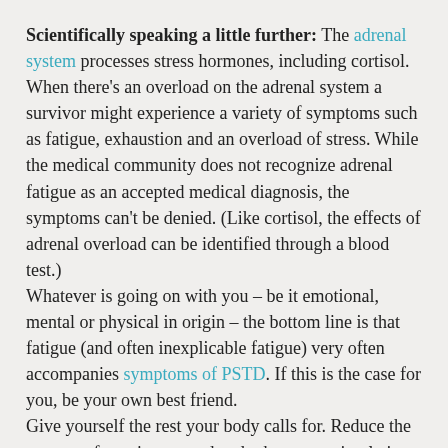Scientifically speaking a little further: The adrenal system processes stress hormones, including cortisol. When there's an overload on the adrenal system a survivor might experience a variety of symptoms such as fatigue, exhaustion and an overload of stress. While the medical community does not recognize adrenal fatigue as an accepted medical diagnosis, the symptoms can't be denied. (Like cortisol, the effects of adrenal overload can be identified through a blood test.)
Whatever is going on with you – be it emotional, mental or physical in origin – the bottom line is that fatigue (and often inexplicable fatigue) very often accompanies symptoms of PSTD. If this is the case for you, be your own best friend.
Give yourself the rest your body calls for. Reduce the amount of running around and other over-stimulation you allow. Also, reach out to your personal and